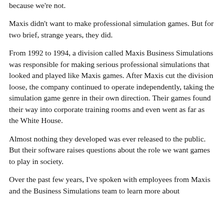because we're not.
Maxis didn't want to make professional simulation games. But for two brief, strange years, they did.
From 1992 to 1994, a division called Maxis Business Simulations was responsible for making serious professional simulations that looked and played like Maxis games. After Maxis cut the division loose, the company continued to operate independently, taking the simulation game genre in their own direction. Their games found their way into corporate training rooms and even went as far as the White House.
Almost nothing they developed was ever released to the public. But their software raises questions about the role we want games to play in society.
Over the past few years, I've spoken with employees from Maxis and the Business Simulations team to learn more about their program. For the first time, this is that story.